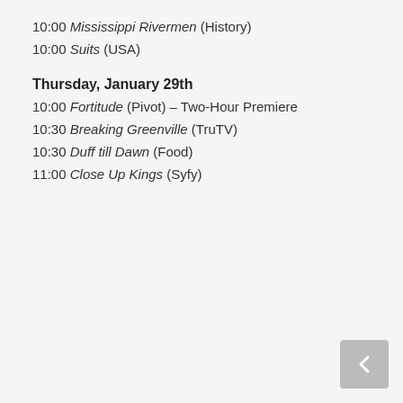10:00 Mississippi Rivermen (History)
10:00 Suits (USA)
Thursday, January 29th
10:00 Fortitude (Pivot) – Two-Hour Premiere
10:30 Breaking Greenville (TruTV)
10:30 Duff till Dawn (Food)
11:00 Close Up Kings (Syfy)